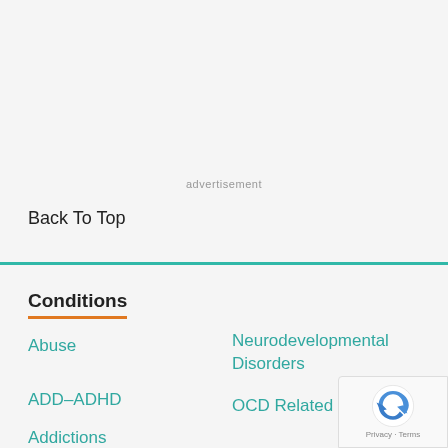advertisement
Back To Top
Conditions
Abuse
Neurodevelopmental Disorders
ADD–ADHD
OCD Related Disorders
Addictions